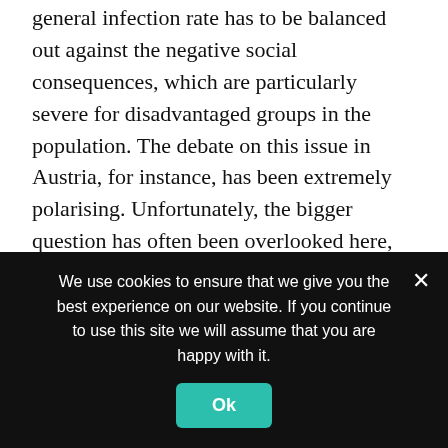general infection rate has to be balanced out against the negative social consequences, which are particularly severe for disadvantaged groups in the population. The debate on this issue in Austria, for instance, has been extremely polarising. Unfortunately, the bigger question has often been overlooked here, namely how we can ensure high-quality education – even if it appears necessary to close schools or offer hybrid teaching.
HEALTHY EUROPE
To what extent should politicians make the scientific basis for their decisions transparent, and would more
We use cookies to ensure that we give you the best experience on our website. If you continue to use this site we will assume that you are happy with it.